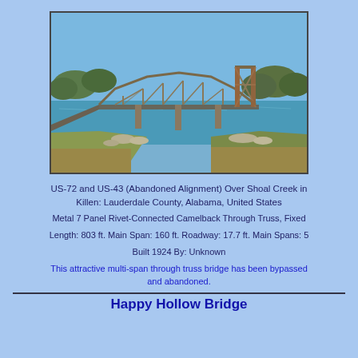[Figure (photo): Photograph of an old metal truss bridge (Happy Hollow Bridge) spanning Shoal Creek. The bridge is a rusted camelback through truss structure with multiple spans. Foreground shows grass and rocky shoreline, background shows trees and blue sky.]
US-72 and US-43 (Abandoned Alignment) Over Shoal Creek in Killen: Lauderdale County, Alabama, United States
Metal 7 Panel Rivet-Connected Camelback Through Truss, Fixed
Length: 803 ft. Main Span: 160 ft. Roadway: 17.7 ft. Main Spans: 5
Built 1924 By: Unknown
This attractive multi-span through truss bridge has been bypassed and abandoned.
Happy Hollow Bridge